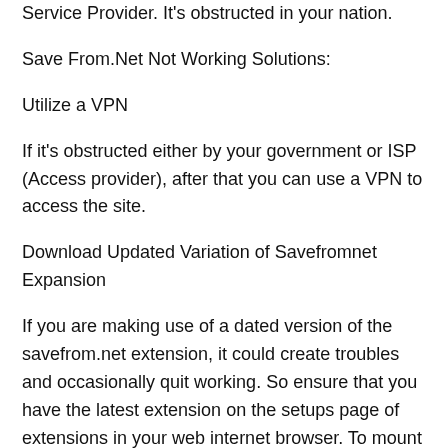Service Provider. It's obstructed in your nation.
Save From.Net Not Working Solutions:
Utilize a VPN
If it's obstructed either by your government or ISP (Access provider), after that you can use a VPN to access the site.
Download Updated Variation of Savefromnet Expansion
If you are making use of a dated version of the savefrom.net extension, it could create troubles and occasionally quit working. So ensure that you have the latest extension on the setups page of extensions in your web internet browser. To mount the current version of SaveFrom.net assistant most likely to “Valuable devices” web page.
Extension was switched off in the helper menu